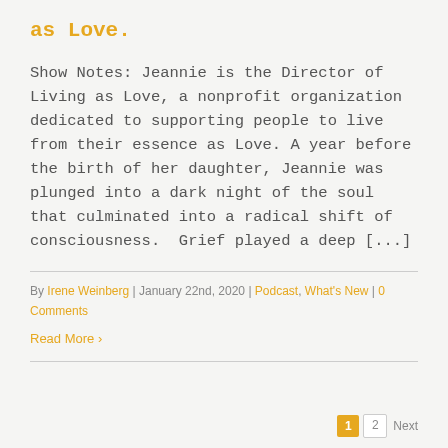as Love.
Show Notes: Jeannie is the Director of Living as Love, a nonprofit organization dedicated to supporting people to live from their essence as Love. A year before the birth of her daughter, Jeannie was plunged into a dark night of the soul that culminated into a radical shift of consciousness.  Grief played a deep [...]
By Irene Weinberg | January 22nd, 2020 | Podcast, What's New | 0 Comments
Read More >
1  2  Next